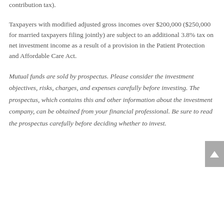contribution tax).
Taxpayers with modified adjusted gross incomes over $200,000 ($250,000 for married taxpayers filing jointly) are subject to an additional 3.8% tax on net investment income as a result of a provision in the Patient Protection and Affordable Care Act.
Mutual funds are sold by prospectus. Please consider the investment objectives, risks, charges, and expenses carefully before investing. The prospectus, which contains this and other information about the investment company, can be obtained from your financial professional. Be sure to read the prospectus carefully before deciding whether to invest.